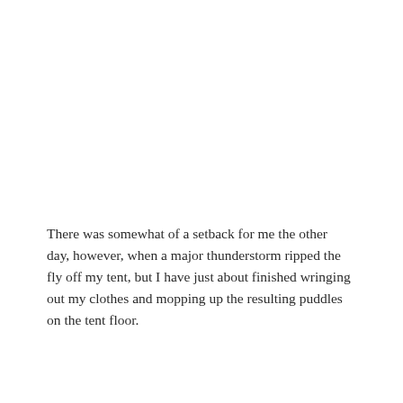There was somewhat of a setback for me the other day, however, when a major thunderstorm ripped the fly off my tent, but I have just about finished wringing out my clothes and mopping up the resulting puddles on the tent floor.